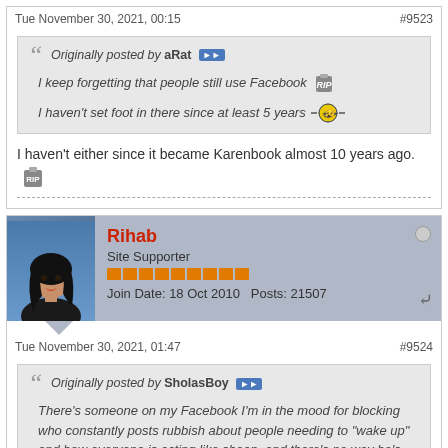Tue November 30, 2021, 00:15
#9523
Originally posted by aRat
I keep forgetting that people still use Facebook
I haven't set foot in there since at least 5 years
I haven't either since it became Karenbook almost 10 years ago.
Rihab
Site Supporter
Join Date: 18 Oct 2010   Posts: 21507
Tue November 30, 2021, 01:47
#9524
Originally posted by SholasBoy
There's someone on my Facebook I'm in the mood for blocking who constantly posts rubbish about people needing to "wake up" and how everyone is acting like sheep, and there's no way he's wearing a "covid advert (mask)" in the